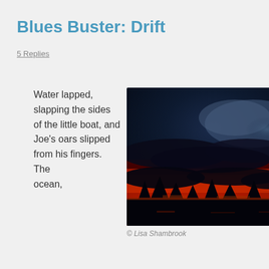Blues Buster: Drift
5 Replies
Water lapped, slapping the sides of the little boat, and Joe's oars slipped from his fingers. The ocean, glittering black like treacle, swallowed them without
[Figure (photo): A dramatic sunset or twilight sky photograph showing dark silhouetted clouds against vivid red, orange, and deep blue tones. The lower portion shows a fiery red-orange glow near the horizon with dark tree silhouettes.]
© Lisa Shambrook